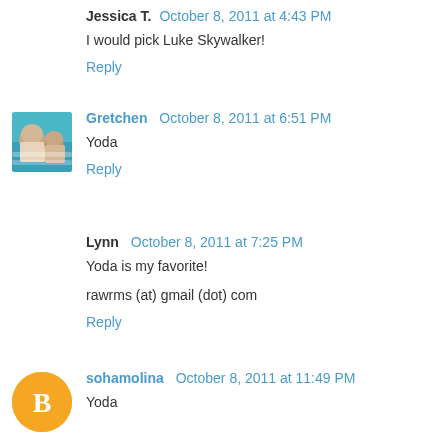Jessica T.  October 8, 2011 at 4:43 PM
I would pick Luke Skywalker!
Reply
[Figure (photo): Avatar photo of Gretchen: woman swimming in pool]
Gretchen  October 8, 2011 at 6:51 PM
Yoda
Reply
Lynn  October 8, 2011 at 7:25 PM
Yoda is my favorite!
rawrms (at) gmail (dot) com
Reply
[Figure (logo): Blogger orange circle avatar icon]
sohamolina  October 8, 2011 at 11:49 PM
Yoda